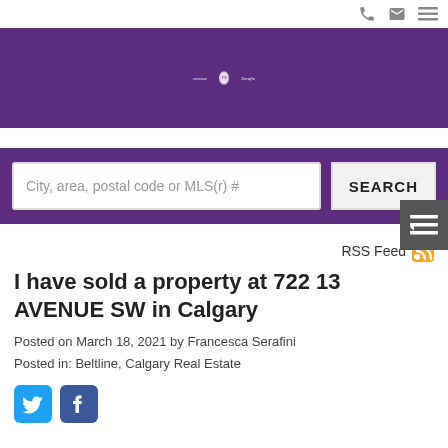[Figure (logo): Francesca Serafini real estate logo with purple banner and oval monogram]
City, area, postal code or MLS(r) #
SEARCH
I have sold a property at 722 13 AVENUE SW in Calgary
Posted on March 18, 2021 by Francesca Serafini
Posted in: Beltline, Calgary Real Estate
[Figure (logo): Twitter and Facebook social media icons]